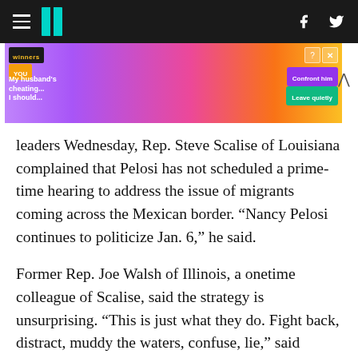HuffPost header with hamburger menu, logo, Facebook and Twitter icons
[Figure (screenshot): Advertisement banner showing a mobile game with text 'My husband's cheating... I should...' with options 'Confront him' and 'Leave quietly']
leaders Wednesday, Rep. Steve Scalise of Louisiana complained that Pelosi has not scheduled a prime-time hearing to address the issue of migrants coming across the Mexican border. “Nancy Pelosi continues to politicize Jan. 6,” he said.
Former Rep. Joe Walsh of Illinois, a onetime colleague of Scalise, said the strategy is unsurprising. “This is just what they do. Fight back, distract, muddy the waters, confuse, lie,” said Walsh, who until 2020 identified as a